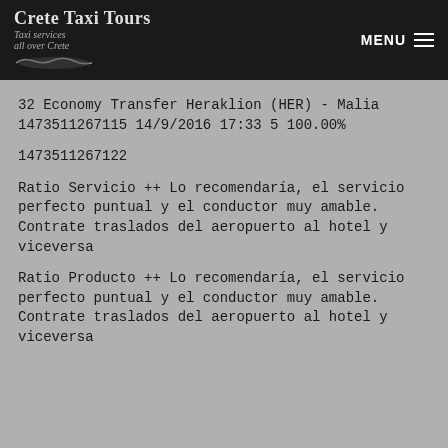Crete Taxi Tours — Taxi services all over Crete | MENU
32 Economy Transfer Heraklion (HER) - Malia 1473511267115 14/9/2016 17:33 5 100.00%
1473511267122
Ratio Servicio ++ Lo recomendaría, el servicio perfecto puntual y el conductor muy amable. Contrate traslados del aeropuerto al hotel y viceversa
Ratio Producto ++ Lo recomendaría, el servicio perfecto puntual y el conductor muy amable. Contrate traslados del aeropuerto al hotel y viceversa